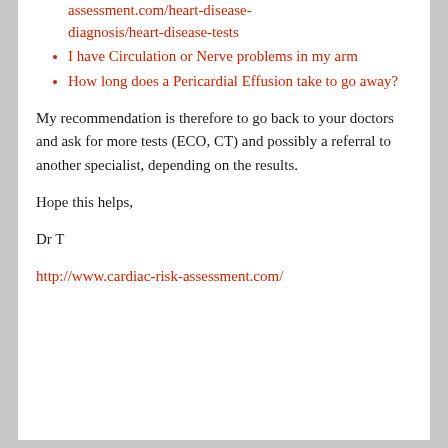assessment.com/heart-disease-diagnosis/heart-disease-tests
I have Circulation or Nerve problems in my arm
How long does a Pericardial Effusion take to go away?
My recommendation is therefore to go back to your doctors and ask for more tests (ECO, CT) and possibly a referral to another specialist, depending on the results.
Hope this helps,
Dr T
http://www.cardiac-risk-assessment.com/